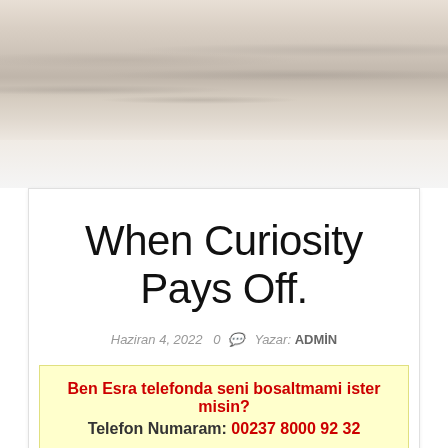[Figure (photo): Sepia-toned ocean/sea waves photograph used as a decorative header banner]
When Curiosity Pays Off.
Haziran 4, 2022  0  Yazar: ADMİN
Ben Esra telefonda seni bosaltmami ister misin?
Telefon Numaram: 00237 8000 92 32